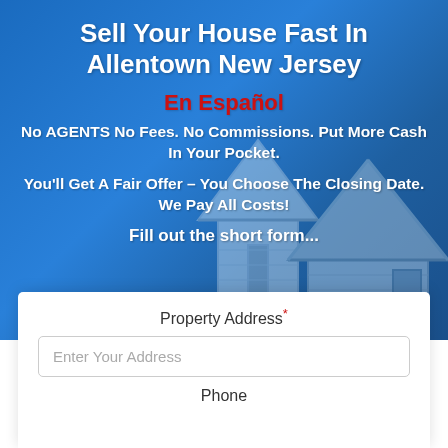Sell Your House Fast In Allentown New Jersey
En Español
No AGENTS No Fees. No Commissions. Put More Cash In Your Pocket.
You'll Get A Fair Offer – You Choose The Closing Date. We Pay All Costs!
Fill out the short form...
Property Address*
Enter Your Address
Phone